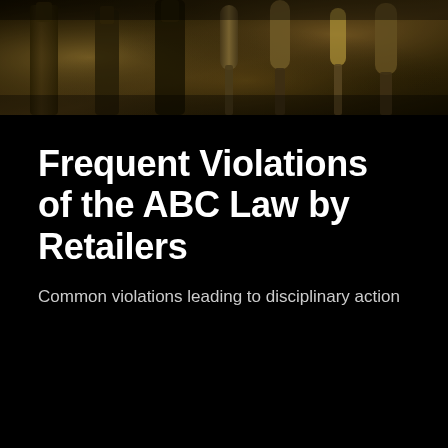[Figure (photo): Close-up photo of bar taps or liquor bottles, warm amber/golden tones, dark background, suggesting a retail alcohol establishment]
Frequent Violations of the ABC Law by Retailers
Common violations leading to disciplinary action